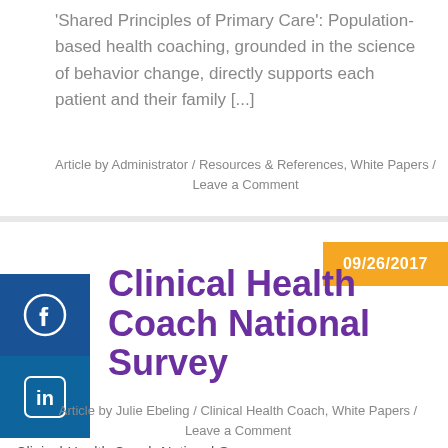'Shared Principles of Primary Care': Population-based health coaching, grounded in the science of behavior change, directly supports each patient and their family [...]
Article by Administrator / Resources & References, White Papers / Leave a Comment
09/26/2017
Clinical Health Coach National Survey
Clinical-Health-Coach-National-Survey
Article by Julie Ebeling / Clinical Health Coach, White Papers / Leave a Comment